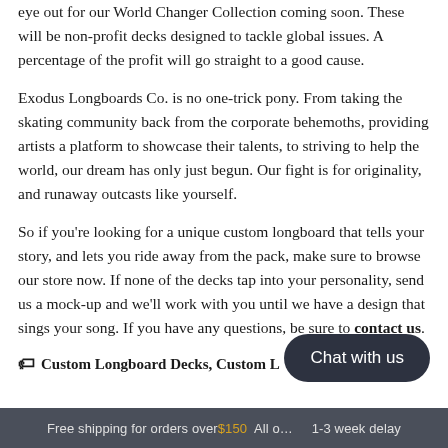eye out for our World Changer Collection coming soon. These will be non-profit decks designed to tackle global issues. A percentage of the profit will go straight to a good cause.
Exodus Longboards Co. is no one-trick pony. From taking the skating community back from the corporate behemoths, providing artists a platform to showcase their talents, to striving to help the world, our dream has only just begun. Our fight is for originality, and runaway outcasts like yourself.
So if you're looking for a unique custom longboard that tells your story, and lets you ride away from the pack, make sure to browse our store now. If none of the decks tap into your personality, send us a mock-up and we'll work with you until we have a design that sings your song. If you have any questions, be sure to contact us.
Custom Longboard Decks, Custom L…
Free shipping for orders over $150 All o… 1-3 week delay